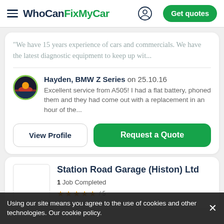WhoCanFixMyCar — Get quotes
"We have 15 years experience of cars and commercials. We have the latest diagnostic equipment to keep up wit...
Hayden, BMW Z Series on 25.10.16
Excellent service from A505! I had a flat battery, phoned them and they had come out with a replacement in an hour of the...
View Profile
Request a Quote
Station Road Garage (Histon) Ltd
1 Job Completed
Using our site means you agree to the use of cookies and other technologies. Our cookie policy.